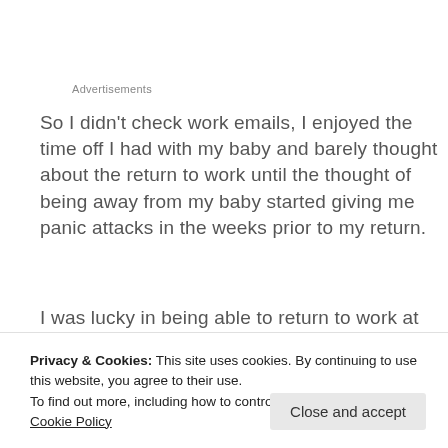Advertisements
So I didn't check work emails, I enjoyed the time off I had with my baby and barely thought about the return to work until the thought of being away from my baby started giving me panic attacks in the weeks prior to my return.
I was lucky in being able to return to work at
Privacy & Cookies: This site uses cookies. By continuing to use this website, you agree to their use.
To find out more, including how to control cookies, see here: Cookie Policy
Close and accept
having lunch/feed breaks with her during the